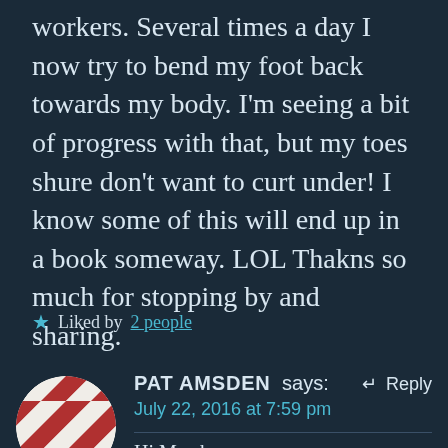workers. Several times a day I now try to bend my foot back towards my body. I'm seeing a bit of progress with that, but my toes shure don't want to curt under! I know some of this will end up in a book someway. LOL Thakns so much for stopping by and sharing.
★ Liked by 2 people
PAT AMSDEN says:    ↵ Reply
July 22, 2016 at 7:59 pm

Hi Marsha